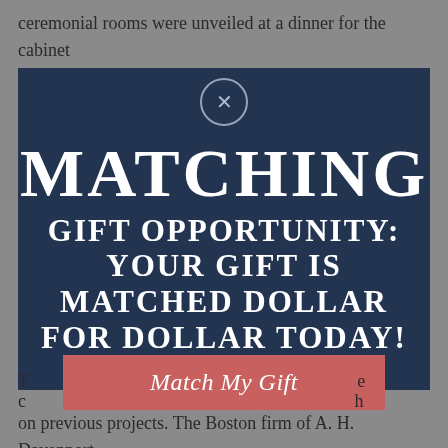ceremonial rooms were unveiled at a dinner for the cabinet
[Figure (infographic): Dark blue semi-transparent overlay popup on top of a background article page. Contains a close button (circle with X), large white bold text reading 'MATCHING GIFT OPPORTUNITY: YOUR GIFT IS MATCHED DOLLAR FOR DOLLAR TODAY!' and a pink/salmon colored button labeled 'Match My Gift' in white italic text.]
T... e
c... h
on previous projects. The Boston firm of A. H. Davenport,